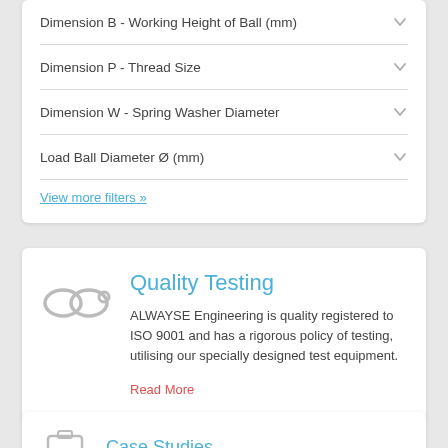Dimension B - Working Height of Ball (mm)
Dimension P - Thread Size
Dimension W - Spring Washer Diameter
Load Ball Diameter Ø (mm)
View more filters »
[Figure (illustration): Infinity loop / chain icon in light grey]
Quality Testing
ALWAYSE Engineering is quality registered to ISO 9001 and has a rigorous policy of testing, utilising our specially designed test equipment.
Read More
Case Studies